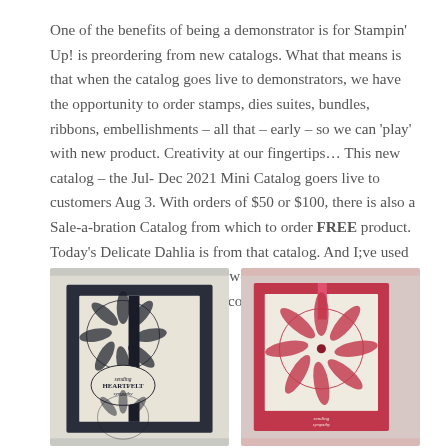One of the benefits of being a demonstrator is for Stampin' Up! is preordering from new catalogs. What that means is that when the catalog goes live to demonstrators, we have the opportunity to order stamps, dies suites, bundles, ribbons, embellishments – all that – early – so we can 'play' with new product. Creativity at our fingertips… This new catalog – the Jul- Dec 2021 Mini Catalog goers live to customers Aug 3. With orders of $50 or $100, there is also a Sale-a-bration Catalog from which to order FREE product. Today's Delicate Dahlia is from that catalog. And I;ve used it to make a sympathy card – well, two cards. They use the same layout but are different colors.
[Figure (photo): Photo of a handmade sympathy card with dark navy/black background, featuring a stamped dahlia flower and the text 'sending HEARTFELT sympathy']
[Figure (photo): Photo of a handmade sympathy card with pink/red color scheme, featuring a large stamped dahlia flower on cream background with pink border]